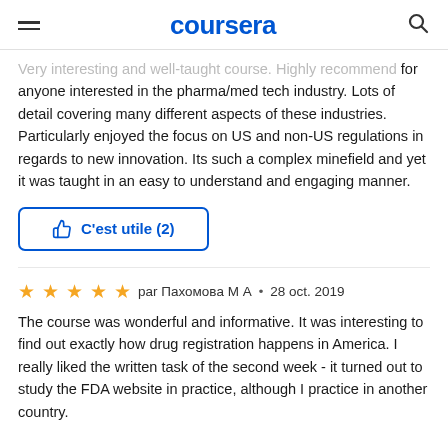coursera
Very interesting and well-taught course. Highly recommend for anyone interested in the pharma/med tech industry. Lots of detail covering many different aspects of these industries. Particularly enjoyed the focus on US and non-US regulations in regards to new innovation. Its such a complex minefield and yet it was taught in an easy to understand and engaging manner.
C'est utile (2)
par Пахомова М А  •  28 oct. 2019
The course was wonderful and informative. It was interesting to find out exactly how drug registration happens in America. I really liked the written task of the second week - it turned out to study the FDA website in practice, although I practice in another country.